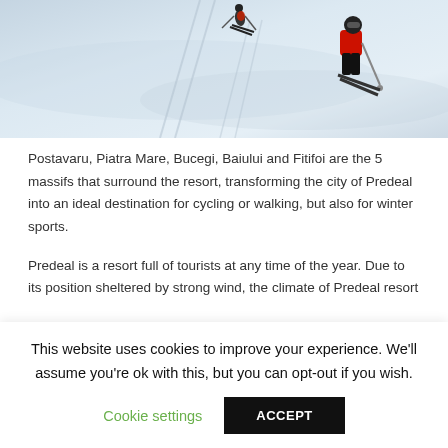[Figure (photo): A skier in a red jacket on a snowy ski slope, viewed from behind/side, with ski tracks in the snow and a wintry mountain resort background.]
Postavaru, Piatra Mare, Bucegi, Baiului and Fitifoi are the 5 massifs that surround the resort, transforming the city of Predeal into an ideal destination for cycling or walking, but also for winter sports.
Predeal is a resort full of tourists at any time of the year. Due to its position sheltered by strong wind, the climate of Predeal resort is mild with cool summers and not very hot winters. During summer, tourists come here to get rid of hot weather in big cities, and in winter, winter sports are like a magnet for adrenaline enthusiasts.
The main attractions of the resort are the eight alpine ski slopes with
This website uses cookies to improve your experience. We'll assume you're ok with this, but you can opt-out if you wish.
Cookie settings
ACCEPT